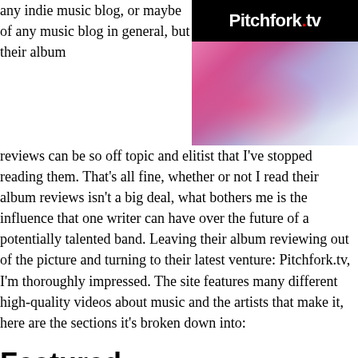any indie music blog, or maybe of any music blog in general, but their album reviews can be so off topic and elitist that I've stopped reading them. That's all fine, whether or not I read their album reviews isn't a big deal, what bothers me is the influence that one writer can have over the future of a potentially talented band. Leaving their album reviewing out of the picture and turning to their latest venture: Pitchfork.tv, I'm thoroughly impressed. The site features many different high-quality videos about music and the artists that make it, here are the sections it's broken down into:
[Figure (logo): Pitchfork.tv logo on black background with colorful abstract image below]
Featured
The featured section serves as the most-recent/best-of content gathered from all the other sections. It it basically a collection of the week's (or maybe more, it's only been live for two